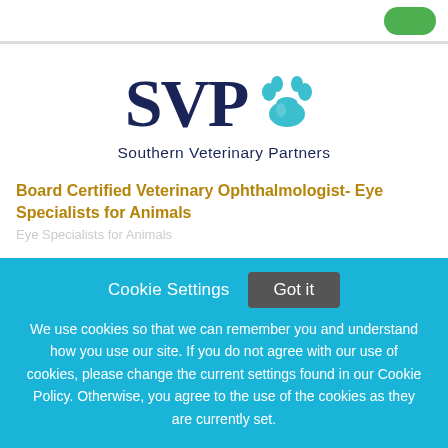[Figure (logo): Southern Veterinary Partners (SVP) logo with dark navy SVP letters and a teal paw print icon, subtitle reads 'Southern Veterinary Partners']
Board Certified Veterinary Ophthalmologist- Eye Specialists for Animals
Cookie Settings  Got it

We use cookies so that we can remember you and understand how you use our site. If you do not agree with our use of cookies, please change the current settings found in our Cookie Policy. Otherwise, you agree to the use of the cookies as they are currently set.